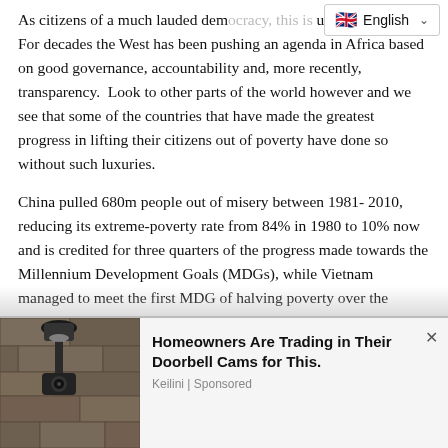As citizens of a much lauded democracy, this is uncomfortable. For decades the West has been pushing an agenda in Africa based on good governance, accountability and, more recently, transparency. Look to other parts of the world however and we see that some of the countries that have made the greatest progress in lifting their citizens out of poverty have done so without such luxuries.
China pulled 680m people out of misery between 1981-2010, reducing its extreme-poverty rate from 84% in 1980 to 10% now and is credited for three quarters of the progress made towards the Millennium Development Goals (MDGs), while Vietnam managed to meet the first MDG of halving poverty over the period 1990-2015 more than a decade in advance, a quite remarkable feat, and…
[Figure (photo): Outdoor wall lamp/security camera on a stone wall]
Homeowners Are Trading in Their Doorbell Cams for This. Keilini | Sponsored